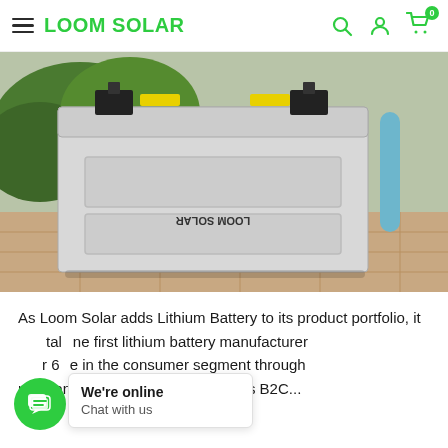LOOM SOLAR
[Figure (photo): A large white rectangular Loom Solar lithium battery sitting outdoors on a tiled patio area, with greenery in the background. The battery has black terminal connectors on top and a 'LOOM SOLAR' label on the side.]
As Loom Solar adds Lithium Battery to its product portfolio, it [tal] the first lithium battery manufacturer [r 6] in the consumer segment through [retails and leading retailers]. With this B2C...